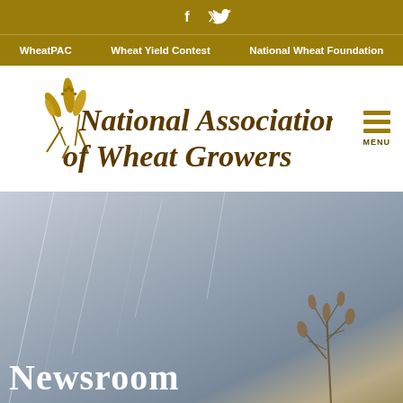f  🐦  (social icons: Facebook, Twitter)
WheatPAC  |  Wheat Yield Contest  |  National Wheat Foundation
[Figure (logo): National Association of Wheat Growers logo: wheat stalk illustration with cursive/italic text 'National Association of Wheat Growers' in dark gold/brown color]
[Figure (photo): Hero background photo of wheat field or snowy agricultural scene in muted blue-grey tones with dried plant silhouette in lower right corner]
Newsroom